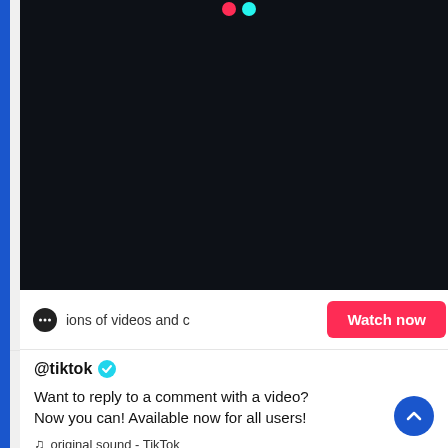[Figure (screenshot): TikTok app screenshot showing a dark video area at top, a call-to-action bar with chat icon and 'Watch now' button, username @tiktok with verified badge, caption text, and music note with sound info.]
ions of videos and c
@tiktok
Want to reply to a comment with a video? Now you can! Available now for all users!
original sound - TikTok